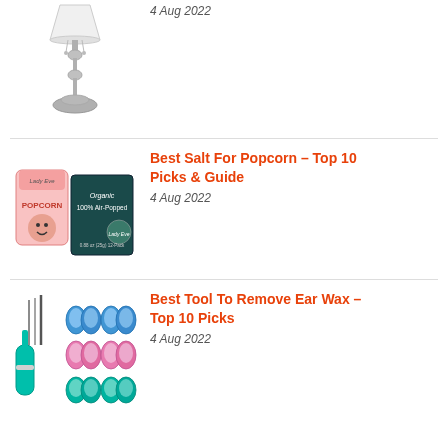[Figure (photo): Silver table lamp with white shade and ornate metal base]
4 Aug 2022
[Figure (photo): Popcorn product image showing a pink bag and dark teal box of organic air-popped popcorn]
Best Salt For Popcorn – Top 10 Picks & Guide
4 Aug 2022
[Figure (photo): Ear wax removal tools including a teal device with needles and small cone-shaped tips in blue, pink, and teal colors]
Best Tool To Remove Ear Wax – Top 10 Picks
4 Aug 2022